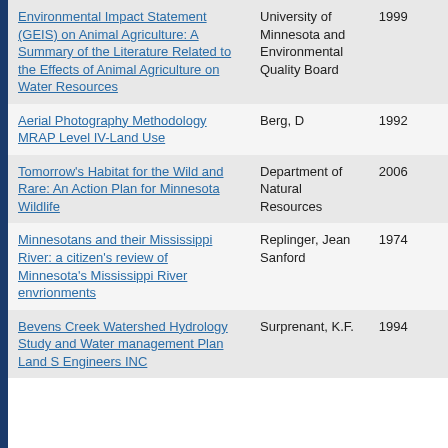| Title | Author/Organization | Year |
| --- | --- | --- |
| Environmental Impact Statement (GEIS) on Animal Agriculture: A Summary of the Literature Related to the Effects of Animal Agriculture on Water Resources | University of Minnesota and Environmental Quality Board | 1999 |
| Aerial Photography Methodology MRAP Level IV-Land Use | Berg, D | 1992 |
| Tomorrow's Habitat for the Wild and Rare: An Action Plan for Minnesota Wildlife | Department of Natural Resources | 2006 |
| Minnesotans and their Mississippi River: a citizen's review of Minnesota's Mississippi River envrionments | Replinger, Jean Sanford | 1974 |
| Bevens Creek Watershed Hydrology Study and Water management Plan Land S Engineers INC | Surprenant, K.F. | 1994 |